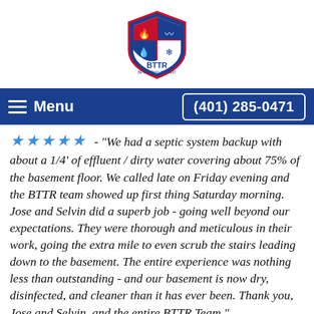[Figure (logo): BTTR (Better Than The Rest) shield logo with red, white, and blue sections showing flames, water drop, and snow/ice icons, with 'BTTR' text and 'BETTER THAN THE REST' tagline]
☰ Menu    (401) 285-0471
★★★★★ - "We had a septic system backup with about a 1/4' of effluent / dirty water covering about 75% of the basement floor. We called late on Friday evening and the BTTR team showed up first thing Saturday morning. Jose and Selvin did a superb job - going well beyond our expectations. They were thorough and meticulous in their work, going the extra mile to even scrub the stairs leading down to the basement. The entire experience was nothing less than outstanding - and our basement is now dry, disinfected, and cleaner than it has ever been. Thank you, Jose and Selvin, and the entire BTTR Team."